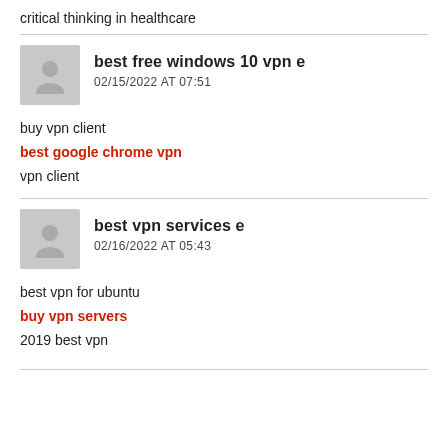critical thinking in healthcare
best free windows 10 vpn e
02/15/2022 AT 07:51
buy vpn client
best google chrome vpn
vpn client
best vpn services e
02/16/2022 AT 05:43
best vpn for ubuntu
buy vpn servers
2019 best vpn